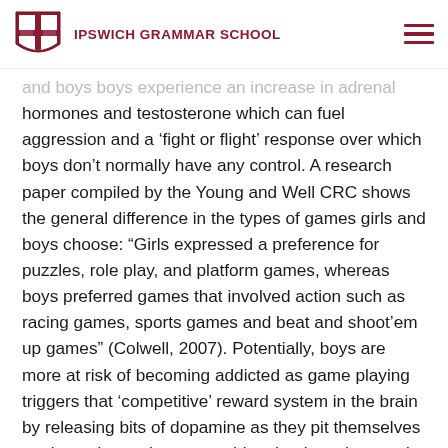IPSWICH GRAMMAR SCHOOL
and boys boys experience an increase in adrenal hormones and testosterone which can fuel aggression and a ‘fight or flight’ response over which boys don’t normally have any control. A research paper compiled by the Young and Well CRC shows the general difference in the types of games girls and boys choose: “Girls expressed a preference for puzzles, role play, and platform games, whereas boys preferred games that involved action such as racing games, sports games and beat and shoot’em up games” (Colwell, 2007). Potentially, boys are more at risk of becoming addicted as game playing triggers that ‘competitive’ reward system in the brain by releasing bits of dopamine as they pit themselves against adversaries - something that boys love to do. However, in this virtual world there is a reset button and the game starts all over